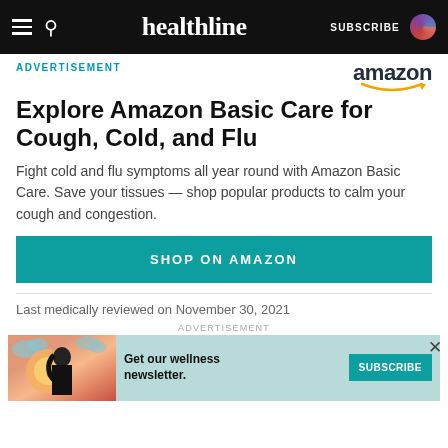healthline | SUBSCRIBE
ADVERTISEMENT
[Figure (logo): Amazon logo with smile]
Explore Amazon Basic Care for Cough, Cold, and Flu
Fight cold and flu symptoms all year round with Amazon Basic Care. Save your tissues — shop popular products to calm your cough and congestion.
SHOP ON AMAZON
Last medically reviewed on November 30, 2021
ADVERTISEMENT
Get our wellness newsletter.
SUBSCRIBE